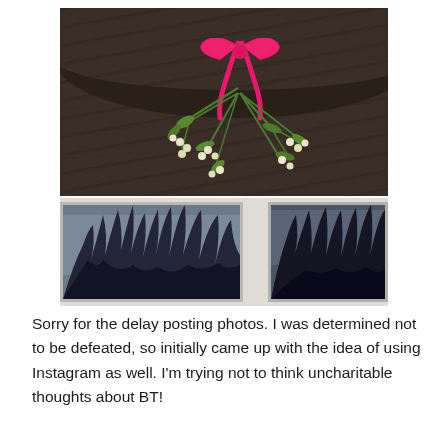[Figure (photo): A photo of mistletoe with a bright pink/magenta ribbon tied at the top, hanging against a dark wooden plank background. Below is a white-painted door or wall with two window panes reflecting bare tree branches against a grey winter sky.]
Sorry for the delay posting photos. I was determined not to be defeated, so initially came up with the idea of using Instagram as well. I'm trying not to think uncharitable thoughts about BT!